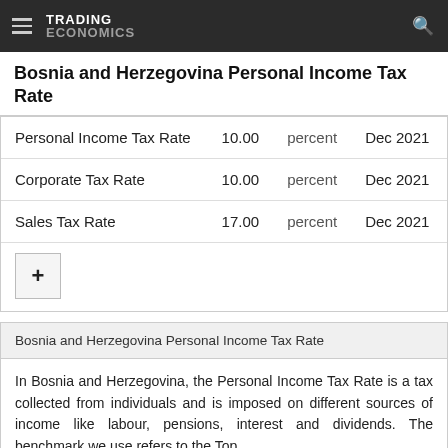TRADING ECONOMICS
Bosnia and Herzegovina Personal Income Tax Rate
|  | Value | Unit | Date |
| --- | --- | --- | --- |
| Personal Income Tax Rate | 10.00 | percent | Dec 2021 |
| Corporate Tax Rate | 10.00 | percent | Dec 2021 |
| Sales Tax Rate | 17.00 | percent | Dec 2021 |
Bosnia and Herzegovina Personal Income Tax Rate
In Bosnia and Herzegovina, the Personal Income Tax Rate is a tax collected from individuals and is imposed on different sources of income like labour, pensions, interest and dividends. The benchmark we use refers to the Top